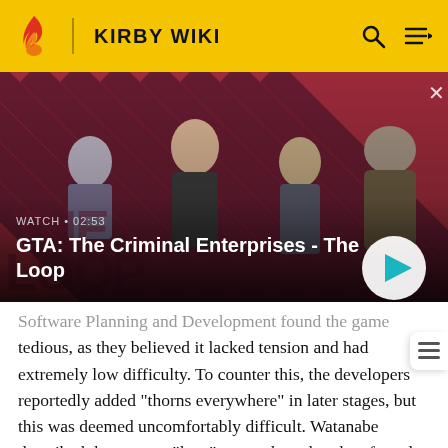KIRBY WIKI
[Figure (screenshot): GTA: The Criminal Enterprises - The Loop video thumbnail showing characters on a diagonal red and dark striped background. Text: WATCH • 02:53, GTA: The Criminal Enterprises - The Loop, with a play button.]
Software Planning and Development found the game tedious, as they believed it lacked tension and had extremely low difficulty. To counter this, the developers reportedly added "thorns everywhere" in later stages, but this was deemed uncomfortably difficult. Watanabe described the team as "lost," so much so that they feared